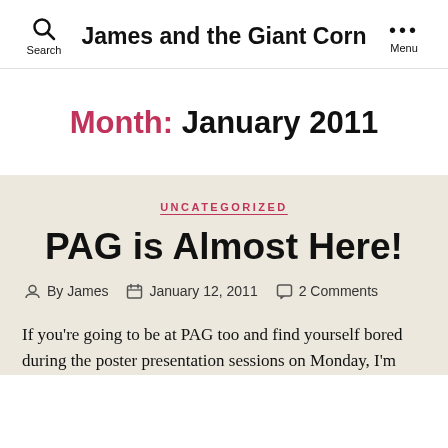James and the Giant Corn
Month: January 2011
UNCATEGORIZED
PAG is Almost Here!
By James  January 12, 2011  2 Comments
If you're going to be at PAG too and find yourself bored during the poster presentation sessions on Monday, I'm